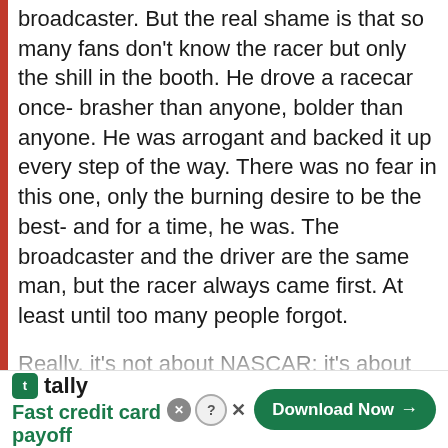broadcaster. But the real shame is that so many fans don't know the racer but only the shill in the booth. He drove a racecar once- brasher than anyone, bolder than anyone. He was arrogant and backed it up every step of the way. There was no fear in this one, only the burning desire to be the best- and for a time, he was. The broadcaster and the driver are the same man, but the racer always came first. At least until too many people forgot.
Really, it's not about NASCAR; it's about racing. The sanctioning body has distorted it and bastardized it, but they can't take the
[Figure (other): Advertisement banner for Tally app — 'Fast credit card payoff' with a green Download Now button and close/help icons]